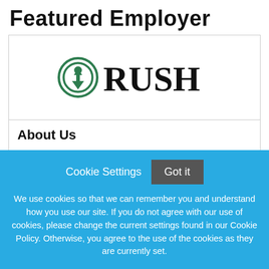Featured Employer
[Figure (logo): Rush University System for Health logo — circular icon with a person symbol in green, followed by 'RUSH' in large bold black serif text]
About Us
Rush University System for Health is an academic health system whose mission is to improve the health of the individuals and the diverse communities it serves through the integration of outstanding patient care
Cookie Settings   Got it
We use cookies so that we can remember you and understand how you use our site. If you do not agree with our use of cookies, please change the current settings found in our Cookie Policy. Otherwise, you agree to the use of the cookies as they are currently set.